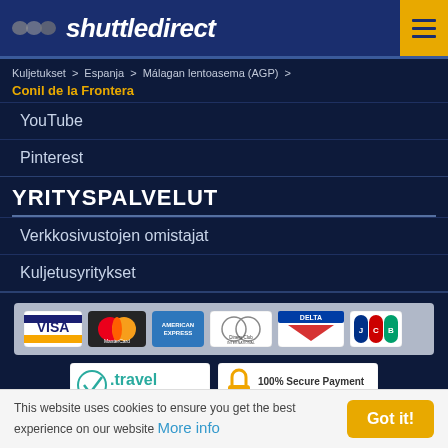shuttledirect
Kuljetukset > Espanja > Málagan lentoasema (AGP) > Conil de la Frontera
YouTube
Pinterest
YRITYSPALVELUT
Verkkosivustojen omistajat
Kuljetusyritykset
[Figure (logo): Payment card logos: Visa, MasterCard, American Express, Diners Club International, Delta, JCB]
[Figure (logo): V.travel authenticated badge and 100% Secure Payment SSL encryption badge]
This website uses cookies to ensure you get the best experience on our website More info Got it!